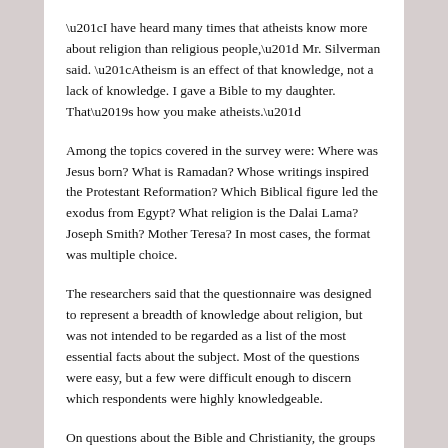“I have heard many times that atheists know more about religion than religious people,” Mr. Silverman said. “Atheism is an effect of that knowledge, not a lack of knowledge. I gave a Bible to my daughter. That’s how you make atheists.”
Among the topics covered in the survey were: Where was Jesus born? What is Ramadan? Whose writings inspired the Protestant Reformation? Which Biblical figure led the exodus from Egypt? What religion is the Dalai Lama? Joseph Smith? Mother Teresa? In most cases, the format was multiple choice.
The researchers said that the questionnaire was designed to represent a breadth of knowledge about religion, but was not intended to be regarded as a list of the most essential facts about the subject. Most of the questions were easy, but a few were difficult enough to discern which respondents were highly knowledgeable.
On questions about the Bible and Christianity, the groups